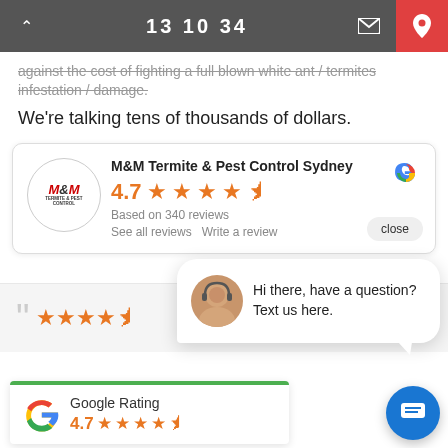13 10 34
against the cost of fighting a full blown white ant / termites infestation / damage.
We're talking tens of thousands of dollars.
[Figure (screenshot): Google review card for M&M Termite & Pest Control Sydney showing 4.7 stars based on 340 reviews, with company logo, star rating, and links to see all reviews or write a review. A close button is visible.]
[Figure (screenshot): Chat popup bubble with avatar of a woman wearing a headset, showing message: Hi there, have a question? Text us here.]
[Figure (screenshot): Google Rating widget at bottom left showing 4.7 stars with Google logo. Blue chat button at bottom right.]